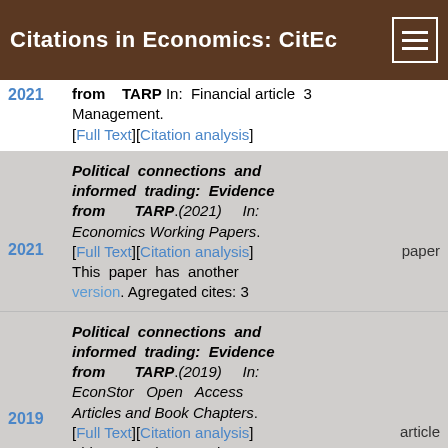Citations in Economics: CitEc
2021  from TARP In: Financial article 3 Management. [Full Text][Citation analysis]
Political connections and informed trading: Evidence from TARP.(2021) In: Economics Working Papers. paper [Full Text][Citation analysis] This paper has another version. Agregated cites: 3
Political connections and informed trading: Evidence from TARP.(2019) In: EconStor Open Access Articles and Book Chapters. article [Full Text][Citation analysis] This paper has another version. Agregated cites: 3
Financial Regulation,